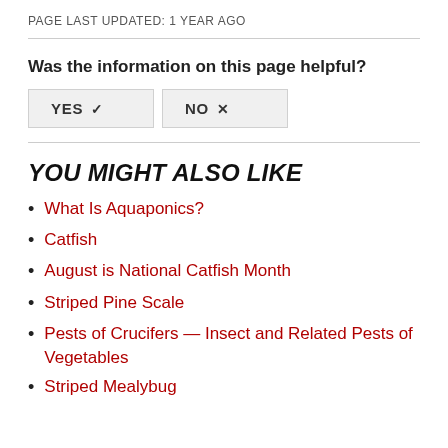PAGE LAST UPDATED: 1 YEAR AGO
Was the information on this page helpful?
[Figure (other): YES and NO buttons with checkmark and X icons]
YOU MIGHT ALSO LIKE
What Is Aquaponics?
Catfish
August is National Catfish Month
Striped Pine Scale
Pests of Crucifers — Insect and Related Pests of Vegetables
Striped Mealybug